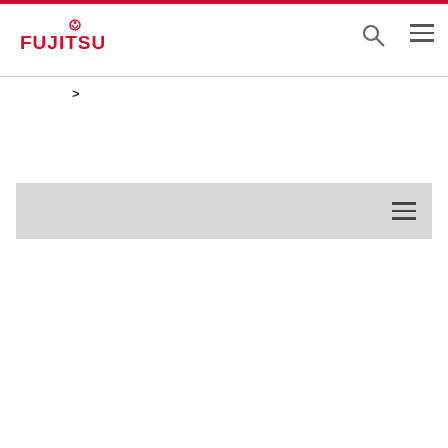Fujitsu website header with logo, search icon, and hamburger menu
>
[Figure (screenshot): Gray banner bar with hamburger menu icon on the right]